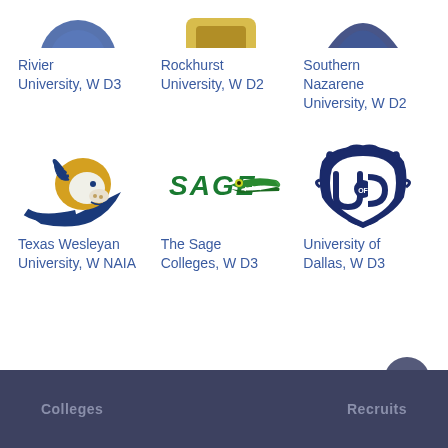[Figure (logo): Rivier University partial logo (top, cropped)]
Rivier University, W D3
[Figure (logo): Rockhurst University partial logo (top, cropped)]
Rockhurst University, W D2
[Figure (logo): Southern Nazarene University partial logo (top, cropped)]
Southern Nazarene University, W D2
[Figure (logo): Texas Wesleyan University ram mascot logo - blue and gold ram head]
Texas Wesleyan University, W NAIA
[Figure (logo): The Sage Colleges logo - green SAGE text with alligator]
The Sage Colleges, W D3
[Figure (logo): University of Dallas logo - navy blue ornate shield with UD letters]
University of Dallas, W D3
Colleges   Recruits